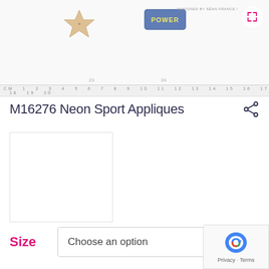[Figure (screenshot): Top portion of a product page showing applique items with a ruler at the bottom, product numbers 23 and 24 visible, and an expand button in top right corner.]
M16276 Neon Sport Appliques
[Figure (photo): Thumbnail image placeholder showing a white/empty product image with a border.]
Size
Choose an option